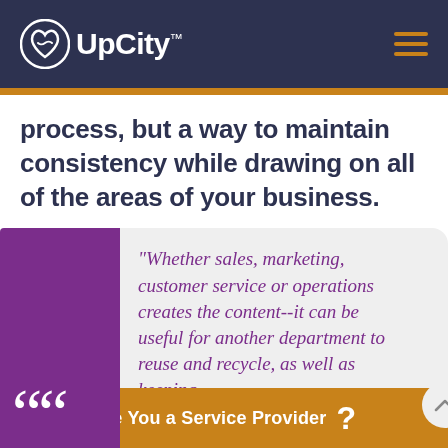[Figure (logo): UpCity logo with icon on dark navy header bar]
process, but a way to maintain consistency while drawing on all of the areas of your business.
“Whether sales, marketing, customer service or operations creates the content--it can be useful for another department to reuse and recycle, as well as keeping
Are You a Service Provider ?